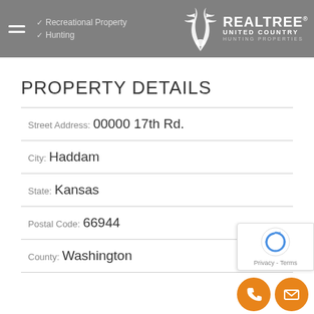Recreational Property | Hunting — Realtree United Country Hunting Properties
PROPERTY DETAILS
Street Address: 00000 17th Rd.
City: Haddam
State: Kansas
Postal Code: 66944
County: Washington